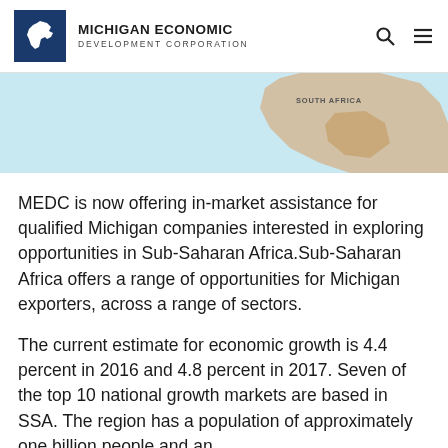MICHIGAN ECONOMIC DEVELOPMENT CORPORATION
[Figure (map): Partial map of Africa showing South Africa labeled, light blue background with tan/sandy land mass]
MEDC is now offering in-market assistance for qualified Michigan companies interested in exploring opportunities in Sub-Saharan Africa.Sub-Saharan Africa offers a range of opportunities for Michigan exporters, across a range of sectors.
The current estimate for economic growth is 4.4 percent in 2016 and 4.8 percent in 2017. Seven of the top 10 national growth markets are based in SSA. The region has a population of approximately one billion people and an